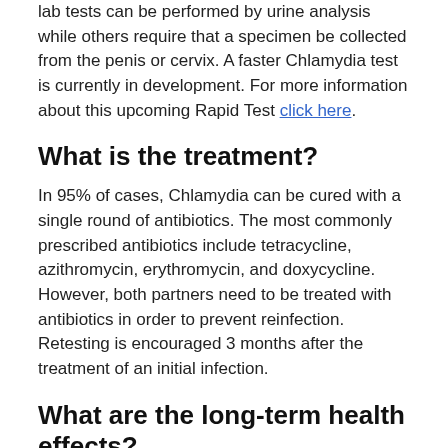lab tests can be performed by urine analysis while others require that a specimen be collected from the penis or cervix. A faster Chlamydia test is currently in development. For more information about this upcoming Rapid Test click here.
What is the treatment?
In 95% of cases, Chlamydia can be cured with a single round of antibiotics. The most commonly prescribed antibiotics include tetracycline, azithromycin, erythromycin, and doxycycline. However, both partners need to be treated with antibiotics in order to prevent reinfection. Retesting is encouraged 3 months after the treatment of an initial infection.
What are the long-term health effects?
Although many cases of Chlamydia are asymptomatic, the long-term health effects of repeated infections or untreated